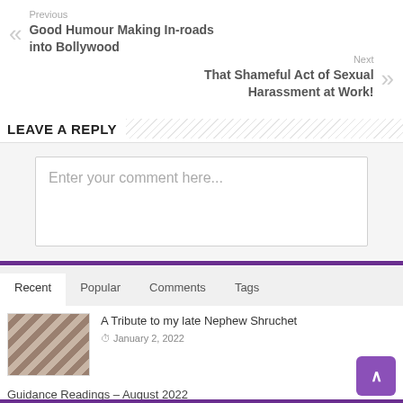Previous
Good Humour Making In-roads into Bollywood
Next
That Shameful Act of Sexual Harassment at Work!
LEAVE A REPLY
Enter your comment here...
Recent  Popular  Comments  Tags
A Tribute to my late Nephew Shruchet
January 2, 2022
Guidance Readings – August 2022